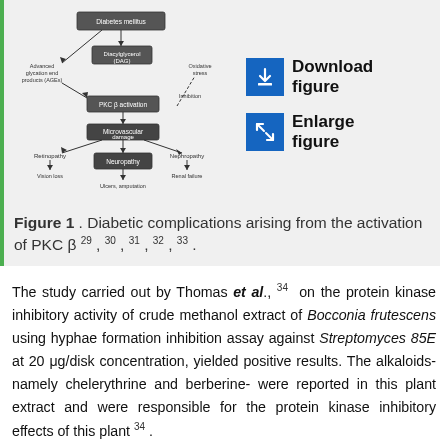[Figure (flowchart): Flowchart showing diabetic complications arising from activation of PKC β. Diabetes mellitus at top leads to Diacylglycerol (DAG) and Advanced glycation end products (AGEs), which feed into PKC β activation with an Inhibition arrow from Oxidative stress. PKC β activation leads to Microvascular damage, which branches to Retinopathy (Vision loss), Neuropathy (Ulcers, amputation), and Nephropathy (Renal failure).]
Figure 1 . Diabetic complications arising from the activation of PKC β 29 , 30 , 31 , 32 , 33 .
The study carried out by Thomas et al., 34 on the protein kinase inhibitory activity of crude methanol extract of Bocconia frutescens using hyphae formation inhibition assay against Streptomyces 85E at 20 μg/disk concentration, yielded positive results. The alkaloids- namely chelerythrine and berberine- were reported in this plant extract and were responsible for the protein kinase inhibitory effects of this plant 34 .
The Importance of the protein kinase th...